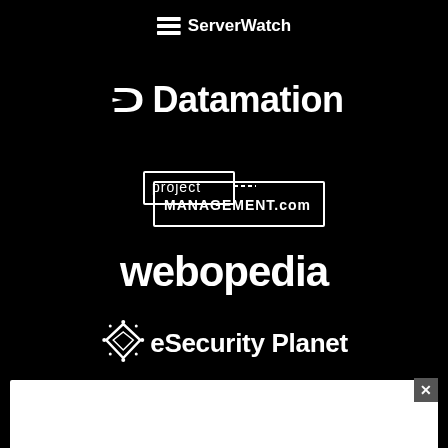[Figure (logo): ServerWatch logo with stacked horizontal lines icon and bold text 'ServerWatch']
[Figure (logo): Datamation logo with stylized D arrow icon and bold text 'Datamation']
[Figure (logo): project-MANAGEMENT.com logo in rectangular bordered box]
[Figure (logo): webopedia logo in bold lowercase white text]
[Figure (logo): eSecurity Planet logo with diamond/shield icon and bold text]
[Figure (logo): Stylized squiggly/wire logo mark]
[Figure (screenshot): White popup/ad bar at bottom of screen with X close button]